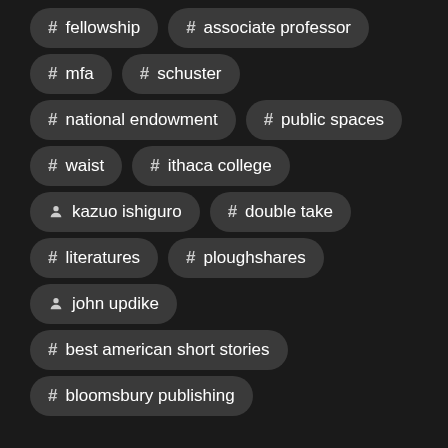# fellowship
# associate professor
# mfa
# schuster
# national endowment
# public spaces
# waist
# ithaca college
person kazuo ishiguro
# double take
# literatures
# ploughshares
person john updike
# best american short stories
# bloomsbury publishing